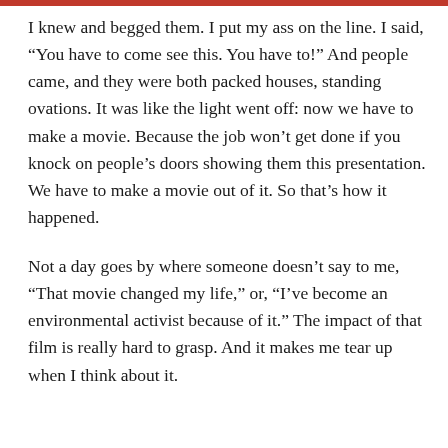I knew and begged them. I put my ass on the line. I said, “You have to come see this. You have to!” And people came, and they were both packed houses, standing ovations. It was like the light went off: now we have to make a movie. Because the job won’t get done if you knock on people’s doors showing them this presentation. We have to make a movie out of it. So that’s how it happened.
Not a day goes by where someone doesn’t say to me, “That movie changed my life,” or, “I’ve become an environmental activist because of it.” The impact of that film is really hard to grasp. And it makes me tear up when I think about it.